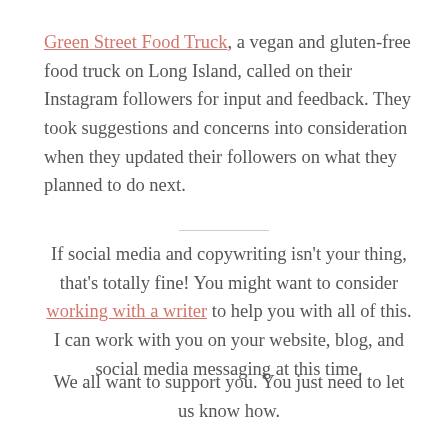Green Street Food Truck, a vegan and gluten-free food truck on Long Island, called on their Instagram followers for input and feedback. They took suggestions and concerns into consideration when they updated their followers on what they planned to do next.
If social media and copywriting isn't your thing, that's totally fine! You might want to consider working with a writer to help you with all of this. I can work with you on your website, blog, and social media messaging at this time.
We all want to support you. You just need to let us know how.